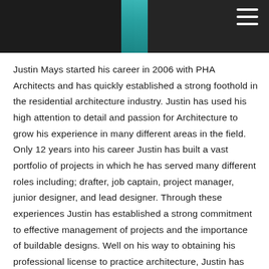[Figure (photo): Top banner photo showing a person in dark clothing with a teal/cyan diagonal stripe element visible, dark background with horizontal ridged texture. A hamburger menu icon (three white horizontal lines) appears in the top right corner.]
Justin Mays started his career in 2006 with PHA Architects and has quickly established a strong foothold in the residential architecture industry. Justin has used his high attention to detail and passion for Architecture to grow his experience in many different areas in the field. Only 12 years into his career Justin has built a vast portfolio of projects in which he has served many different roles including; drafter, job captain, project manager, junior designer, and lead designer. Through these experiences Justin has established a strong commitment to effective management of projects and the importance of buildable designs. Well on his way to obtaining his professional license to practice architecture, Justin has completed his NCARB internship and is now quickly progressing through the Architect Registration Exams. Now as a partner at